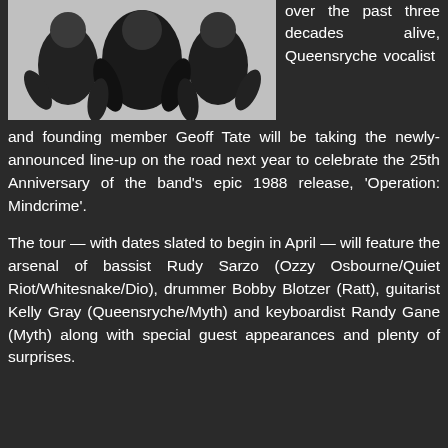[Figure (photo): Black and white overhead photo of a rock band members, dressed in dark clothing, viewed from above against a white background.]
over the past three decades alive, Queensryche vocalist and founding member Geoff Tate will be taking the newly-announced line-up on the road next year to celebrate the 25th Anniversary of the band's epic 1988 release, 'Operation: Mindcrime'.
The tour — with dates slated to begin in April — will feature the arsenal of bassist Rudy Sarzo (Ozzy Osbourne/Quiet Riot/Whitesnake/Dio), drummer Bobby Blotzer (Ratt), guitarist Kelly Gray (Queensryche/Myth) and keyboardist Randy Gane (Myth) along with special guest appearances and plenty of surprises.